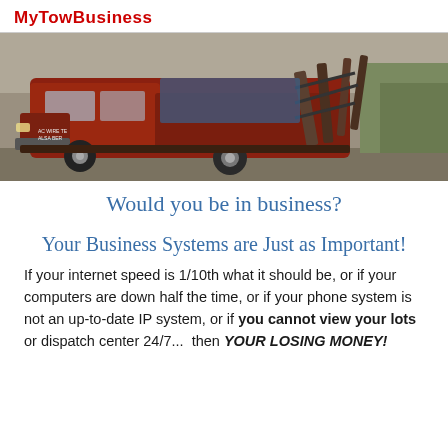MyTowBusiness
[Figure (photo): A red tow truck with towing equipment on the back, parked outdoors.]
Would you be in business?
Your Business Systems are Just as Important!
If your internet speed is 1/10th what it should be, or if your computers are down half the time, or if your phone system is not an up-to-date IP system, or if you cannot view your lots or dispatch center 24/7...  then YOUR LOSING MONEY!